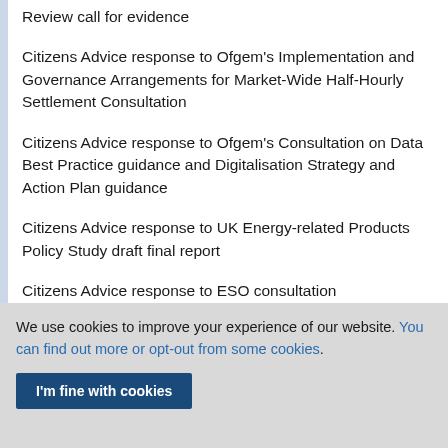Review call for evidence
Citizens Advice response to Ofgem's Implementation and Governance Arrangements for Market-Wide Half-Hourly Settlement Consultation
Citizens Advice response to Ofgem's Consultation on Data Best Practice guidance and Digitalisation Strategy and Action Plan guidance
Citizens Advice response to UK Energy-related Products Policy Study draft final report
Citizens Advice response to ESO consultation
We use cookies to improve your experience of our website. You can find out more or opt-out from some cookies.